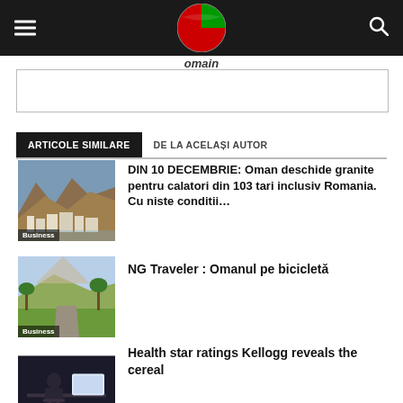Oman news site header with logo, hamburger menu, search icon
Omain
ARTICOLE SIMILARE | DE LA ACELAȘI AUTOR
[Figure (photo): Oman rocky mountains and white buildings, labeled Business]
DIN 10 DECEMBRIE: Oman deschide granite pentru calatori din 103 tari inclusiv Romania. Cu niste conditii…
[Figure (photo): Oman landscape with palm trees and hills, labeled Business]
NG Traveler : Omanul pe bicicletă
[Figure (photo): Person seated at desk in dark room, labeled Travel]
Health star ratings Kellogg reveals the cereal